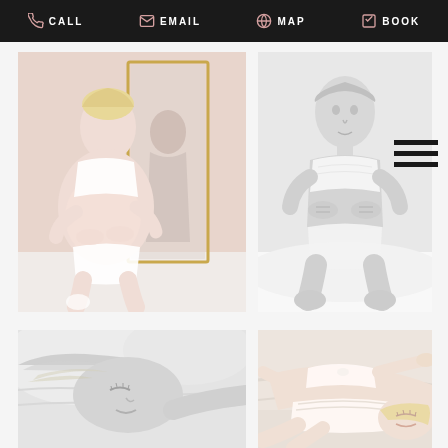CALL | EMAIL | MAP | BOOK
[Figure (photo): Maternity boudoir photo - pregnant woman kneeling on bed in white lingerie with mirror reflection]
[Figure (photo): Black and white boudoir photo - woman kneeling on bed in white lace lingerie]
[Figure (photo): Black and white boudoir photo - woman lying down, close-up face and upper body]
[Figure (photo): Boudoir photo - woman lying on bed in white lace lingerie, reclining pose]